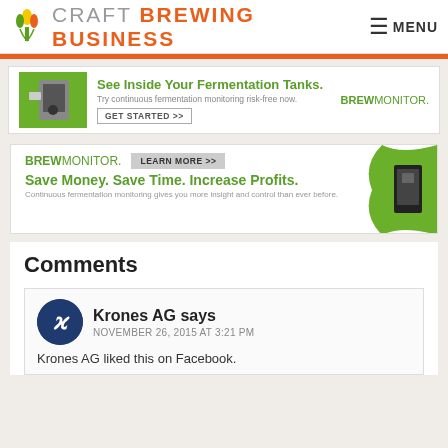CRAFT BREWING BUSINESS | MENU
[Figure (screenshot): BrewMonitor advertisement banner 1: See Inside Your Fermentation Tanks. Try continuous fermentation monitoring risk-free now. GET STARTED >> BREWMONITOR.]
[Figure (screenshot): BrewMonitor advertisement banner 2: BREWMONITOR. LEARN MORE >> Save Money. Save Time. Increase Profits. Continuous fermentation monitoring gives you more insight and control than ever before.]
Comments
Krones AG says
NOVEMBER 26, 2015 AT 3:21 PM
Krones AG liked this on Facebook.